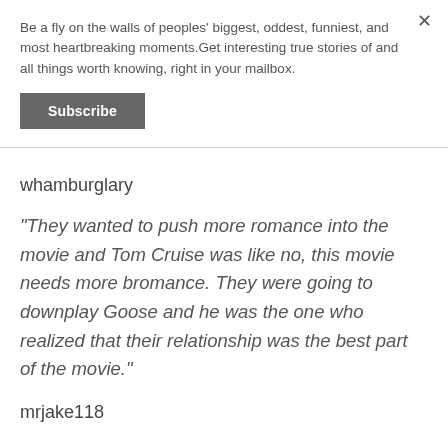Be a fly on the walls of peoples' biggest, oddest, funniest, and most heartbreaking moments.Get interesting true stories of and all things worth knowing, right in your mailbox.
Subscribe
whamburglary
"They wanted to push more romance into the movie and Tom Cruise was like no, this movie needs more bromance. They were going to downplay Goose and he was the one who realized that their relationship was the best part of the movie."
mrjake118